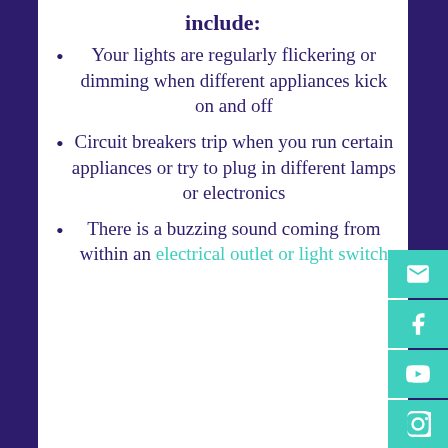include:
Your lights are regularly flickering or dimming when different appliances kick on and off
Circuit breakers trip when you run certain appliances or try to plug in different lamps or electronics
There is a buzzing sound coming from within an electrical outlet or light switch